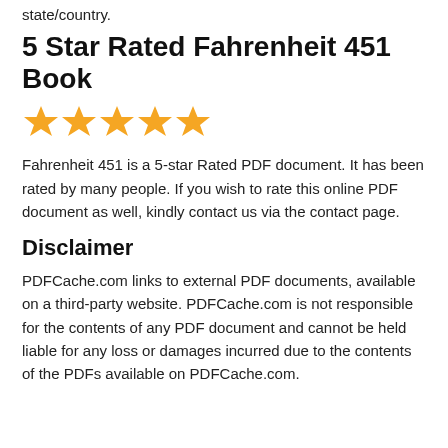state/country.
5 Star Rated Fahrenheit 451 Book
[Figure (illustration): Five gold/orange star rating icons in a row]
Fahrenheit 451 is a 5-star Rated PDF document. It has been rated by many people. If you wish to rate this online PDF document as well, kindly contact us via the contact page.
Disclaimer
PDFCache.com links to external PDF documents, available on a third-party website. PDFCache.com is not responsible for the contents of any PDF document and cannot be held liable for any loss or damages incurred due to the contents of the PDFs available on PDFCache.com.